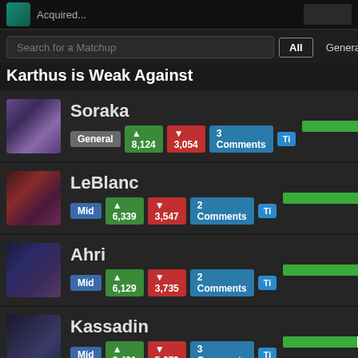Acquired...
Search for a Matchup
Karthus is Weak Against
Soraka | General | ▲ 8,124 | ▼ 3,054 | 3 Comments | Ti
LeBlanc | Mid | ▲ 6,339 | ▼ 3,547 | 2 Comments | Ti
Ahri | Mid | ▲ 6,129 | ▼ 3,735 | 2 Comments | Ti
Kassadin | Mid | ▲ 8,401 | ▼ 5,679 | 3 Comments | Ti
Fizz | Mid | ▲ 8,019 | ▼ 5,441 | 2 Comments | Ti